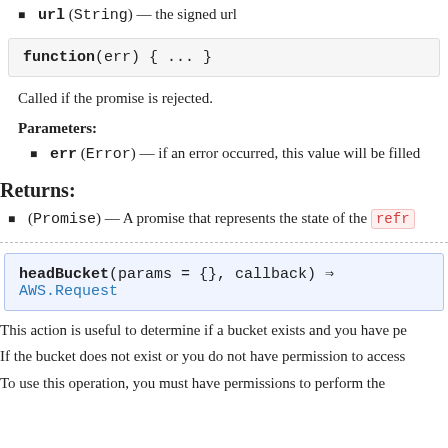url (String) — the signed url
Called if the promise is rejected.
Parameters:
err (Error) — if an error occurred, this value will be filled
Returns:
(Promise) — A promise that represents the state of the refr…
This action is useful to determine if a bucket exists and you have pe…
If the bucket does not exist or you do not have permission to access…
To use this operation, you must have permissions to perform the s…